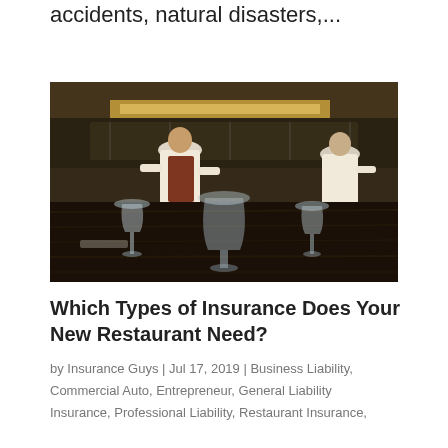accidents, natural disasters,...
[Figure (photo): Restaurant kitchen scene with chefs working in the background and wine glasses on a dark wooden table in the foreground]
Which Types of Insurance Does Your New Restaurant Need?
by Insurance Guys | Jul 17, 2019 | Business Liability, Commercial Auto, Entrepreneur, General Liability Insurance, Professional Liability, Restaurant Insurance,